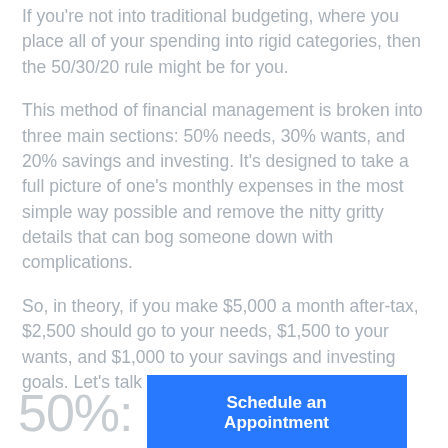If you're not into traditional budgeting, where you place all of your spending into rigid categories, then the 50/30/20 rule might be for you.
This method of financial management is broken into three main sections: 50% needs, 30% wants, and 20% savings and investing. It's designed to take a full picture of one's monthly expenses in the most simple way possible and remove the nitty gritty details that can bog someone down with complications.
So, in theory, if you make $5,000 a month after-tax, $2,500 should go to your needs, $1,500 to your wants, and $1,000 to your savings and investing goals. Let's talk more about how this all works.
50%:
Schedule an Appointment